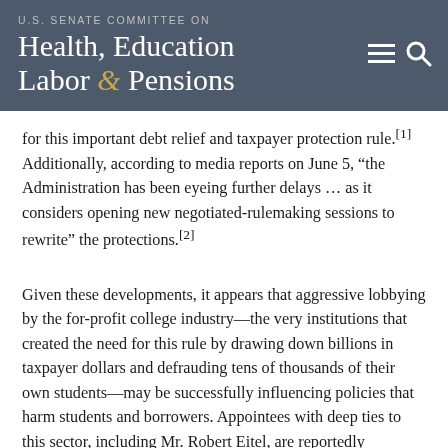U.S. SENATE COMMITTEE ON Health, Education Labor & Pensions
for this important debt relief and taxpayer protection rule.[1] Additionally, according to media reports on June 5, “the Administration has been eyeing further delays … as it considers opening new negotiated-rulemaking sessions to rewrite” the protections.[2]
Given these developments, it appears that aggressive lobbying by the for-profit college industry—the very institutions that created the need for this rule by drawing down billions in taxpayer dollars and defrauding tens of thousands of their own students—may be successfully influencing policies that harm students and borrowers. Appointees with deep ties to this sector, including Mr. Robert Eitel, are reportedly